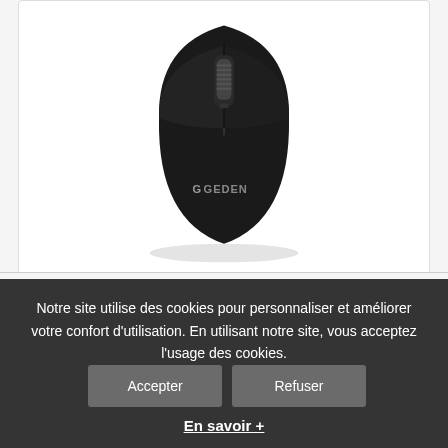[Figure (photo): A black Heden wireless optical ambidextrous mouse viewed from above, showing the scroll wheel and Heden logo on the body]
NEUF – Heden Souris optique sans fil ambidextre
Notre site utilise des cookies pour personnaliser et améliorer votre confort d'utilisation. En utilisant notre site, vous acceptez l'usage des cookies.
En savoir +